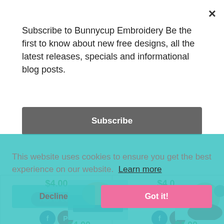Subscribe to Bunnycup Embroidery Be the first to know about new free designs, all the latest releases, specials and informational blog posts.
Subscribe
$4.00
Add to Cart
$4.00
Add to Cart
Lil Santa 5
Lil Santa 6
This website uses cookies to ensure you get the best experience on our website.  Learn more
Decline
Got it!